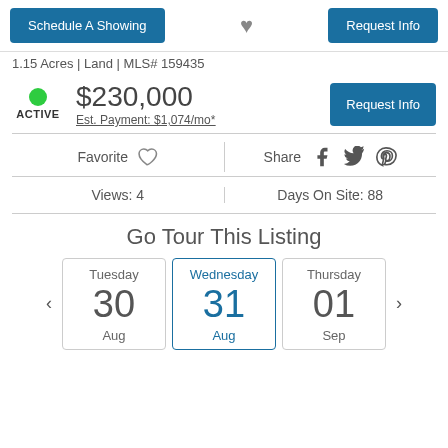Schedule A Showing | (heart) | Request Info
1.15 Acres | Land | MLS# 159435
ACTIVE — $230,000 — Est. Payment: $1,074/mo*
Favorite | Share (Facebook, Twitter, Pinterest)
Views: 4 | Days On Site: 88
Go Tour This Listing
Tuesday 30 Aug | Wednesday 31 Aug | Thursday 01 Sep